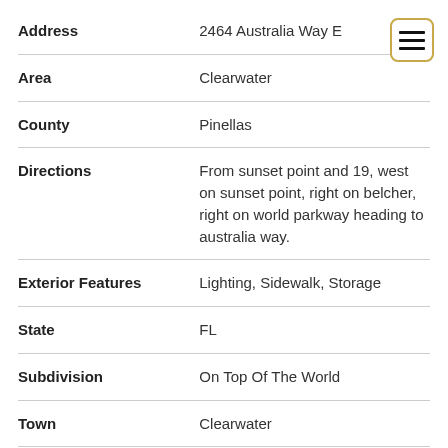| Field | Value |
| --- | --- |
| Address | 2464 Australia Way E |
| Area | Clearwater |
| County | Pinellas |
| Directions | From sunset point and 19, west on sunset point, right on belcher, right on world parkway heading to australia way. |
| Exterior Features | Lighting, Sidewalk, Storage |
| State | FL |
| Subdivision | On Top Of The World |
| Town | Clearwater |
| Township | 29 |
| Zip | 33763 |